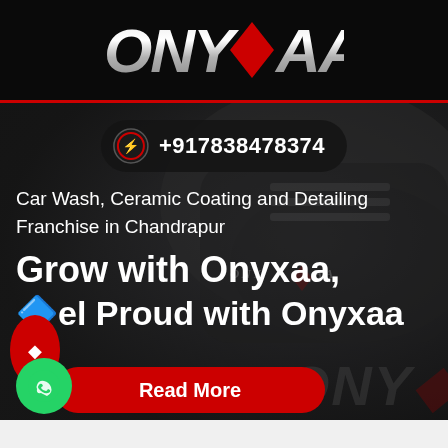[Figure (logo): ONYXAA logo in metallic silver with a red diamond/rhombus replacing the X letter, on dark background]
+917838478374
Car Wash, Ceramic Coating and Detailing Franchise in Chandrapur
Grow with Onyxaa,
🔷el Proud with Onyxaa
Read More